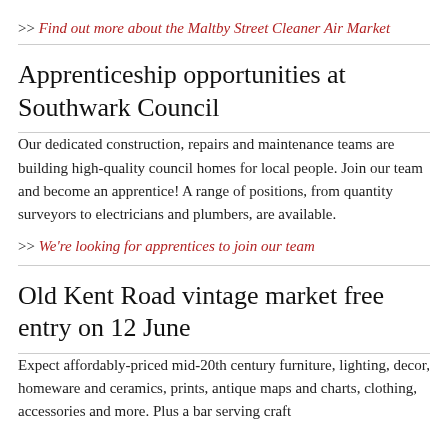>> Find out more about the Maltby Street Cleaner Air Market
Apprenticeship opportunities at Southwark Council
Our dedicated construction, repairs and maintenance teams are building high-quality council homes for local people. Join our team and become an apprentice! A range of positions, from quantity surveyors to electricians and plumbers, are available.
>> We're looking for apprentices to join our team
Old Kent Road vintage market free entry on 12 June
Expect affordably-priced mid-20th century furniture, lighting, decor, homeware and ceramics, prints, antique maps and charts, clothing, accessories and more. Plus a bar serving craft